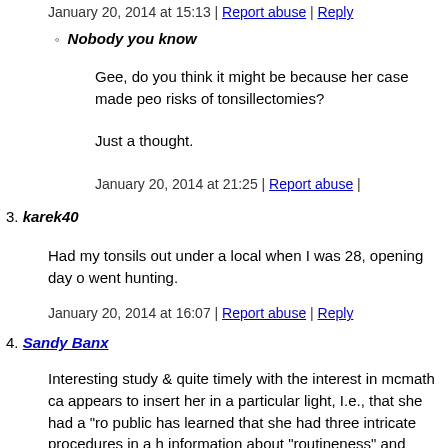January 20, 2014 at 15:13 | Report abuse | Reply
Nobody you know
Gee, do you think it might be because her case made peo risks of tonsillectomies?
Just a thought.
January 20, 2014 at 21:25 | Report abuse |
3. karek40
Had my tonsils out under a local when I was 28, opening day o went hunting.
January 20, 2014 at 16:07 | Report abuse | Reply
4. Sandy Banx
Interesting study & quite timely with the interest in mcmath ca appears to insert her in a particular light, I.e., that she had a "ro public has learned that she had three intricate procedures in a h information about "routineness" and standard of care has been their "pro bono" attorney. The hospital, bound by HIPPA regs, issues as the mother did not waive these rights on the decedent When all the information is disseminated, along with any vide should expand to include larger issues.